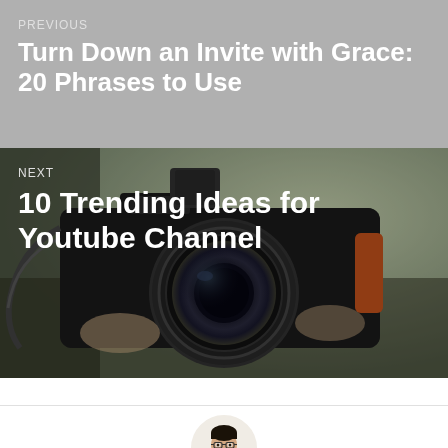PREVIOUS
Turn Down an Invite with Grace: 20 Phrases to Use
NEXT
10 Trending Ideas for Youtube Channel
[Figure (photo): Person holding a professional camera with a large lens, close-up shot against blurred outdoor background]